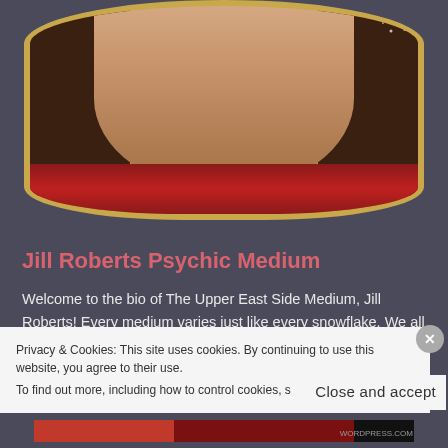[Figure (photo): Photo of Jill Roberts, a woman with dark hair, shown from chin down, framed in an ornate gold oval frame with red fabric below and sparkles in top right corner]
Jill Roberts Psychic Medium
Welcome to the bio of The Upper East Side Medium, Jill Roberts! Every medium varies just like every snowflake. We all have our own special gifts and we all have certain abilities that are stronger than others. My abilities are of the Evidential Mediumship nature, which means my strengths are connecting with the other side and loved ones who have
Privacy & Cookies: This site uses cookies. By continuing to use this website, you agree to their use.
To find out more, including how to control cookies, see here: Cookie Policy
Close and accept